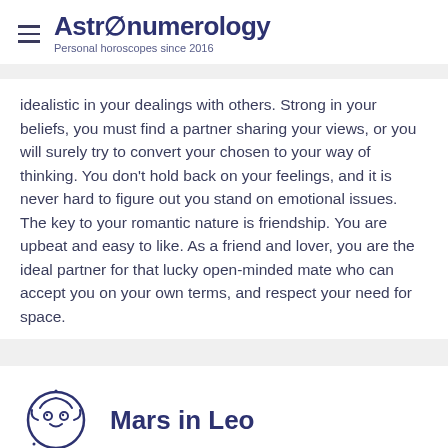Astronumerology — Personal horoscopes since 2016
idealistic in your dealings with others. Strong in your beliefs, you must find a partner sharing your views, or you will surely try to convert your chosen to your way of thinking. You don't hold back on your feelings, and it is never hard to figure out you stand on emotional issues. The key to your romantic nature is friendship. You are upbeat and easy to like. As a friend and lover, you are the ideal partner for that lucky open-minded mate who can accept you on your own terms, and respect your need for space.
Mars in Leo
Mars in Leo is noted for its physical energy, and it manages reasonably well in the mental and practical departments, as well. The ego and need for recognition make the emotional energy...